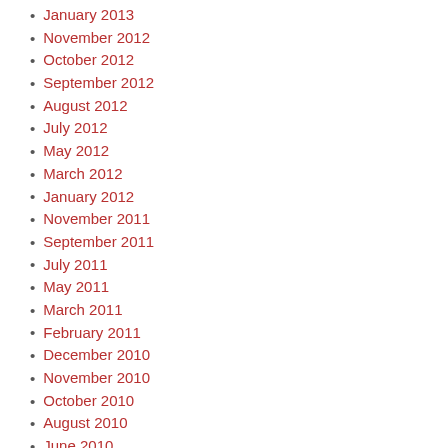January 2013
November 2012
October 2012
September 2012
August 2012
July 2012
May 2012
March 2012
January 2012
November 2011
September 2011
July 2011
May 2011
March 2011
February 2011
December 2010
November 2010
October 2010
August 2010
June 2010
March 2010
January 2010